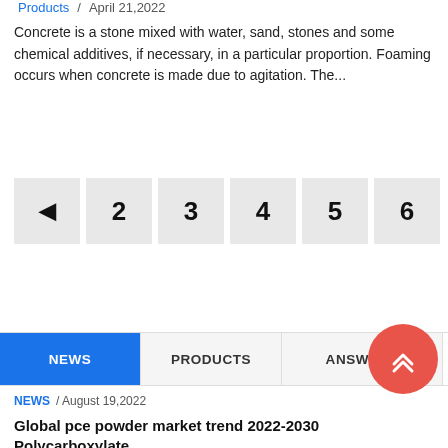Products / April 21,2022
Concrete is a stone mixed with water, sand, stones and some chemical additives, if necessary, in a particular proportion. Foaming occurs when concrete is made due to agitation. The...
[Figure (other): Pagination controls showing a left arrow button and numbered page buttons: 2, 3, 4, 5, 6]
[Figure (other): Tab navigation with three tabs: NEWS (active, blue), PRODUCTS, ANSWERS. A red circular FAB button with upward chevron arrows on the right.]
NEWS / August 19,2022
Global pce powder market trend 2022-2030 Polycarboxylate